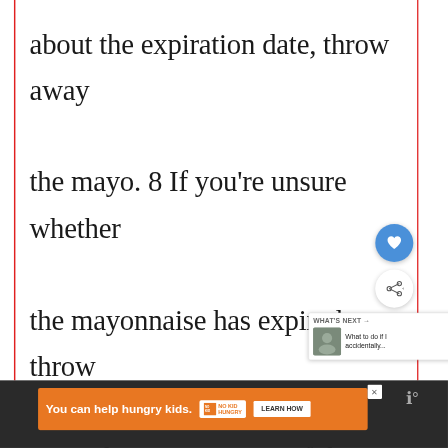about the expiration date, throw away the mayo. 8 If you're unsure whether the mayonnaise has expired, throw away the mayonaise. 9 If the mayonnaise smells okay, tastes
[Figure (screenshot): UI overlay with heart (like) button in blue circle and share button in white circle on right side of content]
[Figure (screenshot): What's Next panel showing thumbnail and text: 'What to do if I accidentally...']
[Figure (screenshot): Orange advertisement banner at bottom: 'You can help hungry kids. NO KID HUNGRY LEARN HOW' with close X button]